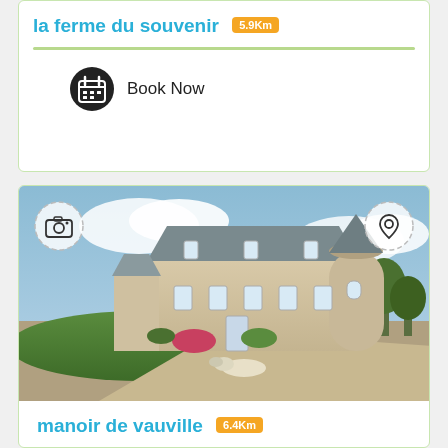la ferme du souvenir 5.9Km
Book Now
[Figure (photo): Photograph of Manoir de Vauville, a French manor house with a round tower, stone facade, manicured grounds, and a dog lying on the driveway in the foreground.]
manoir de vauville 6.4Km
From €300 / night
Book Now